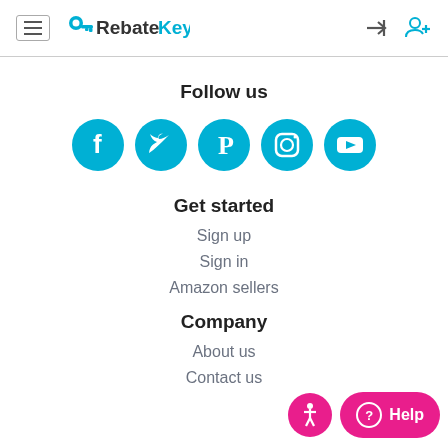RebateKey — navigation header with hamburger menu, logo, sign-in and sign-up icons
Follow us
[Figure (infographic): Five teal circular social media icons: Facebook, Twitter, Pinterest, Instagram, YouTube]
Get started
Sign up
Sign in
Amazon sellers
Company
About us
Contact us